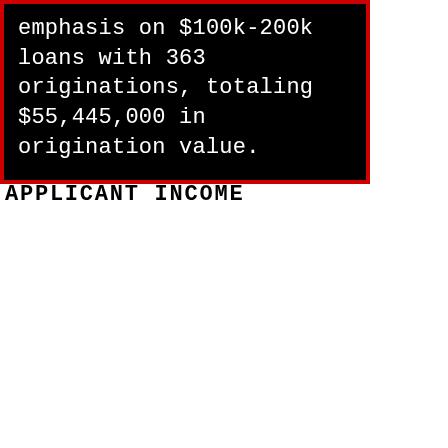emphasis on $100k-200k loans with 363 originations, totaling $55,445,000 in origination value.
APPLICANT INCOME